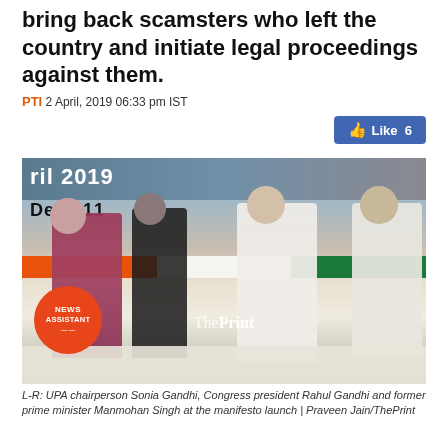bring back scamsters who left the country and initiate legal proceedings against them.
PTI 2 April, 2019 06:33 pm IST
[Figure (photo): Photo showing (L-R) UPA chairperson Sonia Gandhi, Congress president Rahul Gandhi and former prime minister Manmohan Singh at the manifesto launch, with ThePrint watermark and News Assistant badge]
L-R: UPA chairperson Sonia Gandhi, Congress president Rahul Gandhi and former prime minister Manmohan Singh at the manifesto launch | Praveen Jain/ThePrint